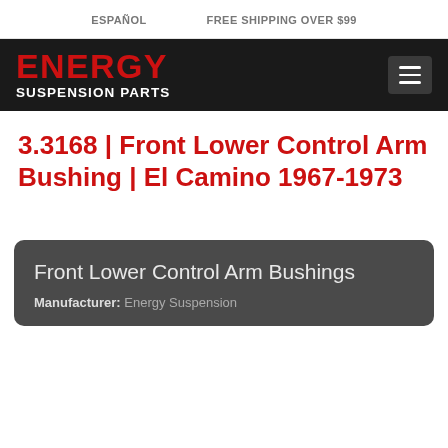ESPAÑOL   FREE SHIPPING OVER $99
[Figure (logo): Energy Suspension Parts logo with red ENERGY text and white SUSPENSION PARTS text on black background, with hamburger menu button]
3.3168 | Front Lower Control Arm Bushing | El Camino 1967-1973
Front Lower Control Arm Bushings
Manufacturer: Energy Suspension